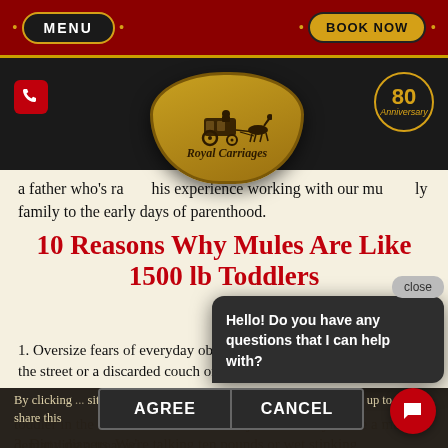MENU | BOOK NOW
[Figure (logo): Royal Carriages logo with horse-drawn carriage illustration on a tan shield/crest badge, with '80 Anniversary' badge top right]
a father who's ra... his experience working with our mu... ily family to the early days of parenthood.
10 Reasons Why Mules Are Like 1500 lb Toddlers
1. Oversize fears of everyday objects. A plastic bag blowing down the street or a discarded couch on the sidew...
By clicking ... site can rea... automatically. Please note that it is up to you to share this
2. toddler in the ch... eate a lot of dra... just wait till you see a mule demanding a treat wi... every trick ...posal.
3. Dirty diapers. We're talking ten pounds or wet stinking
[Figure (screenshot): Chat popup bubble with text: Hello! Do you have any questions that I can help with? With a close button and red chat icon button]
Hello! Do you have any questions that I can help with?
AGREE | CANCEL